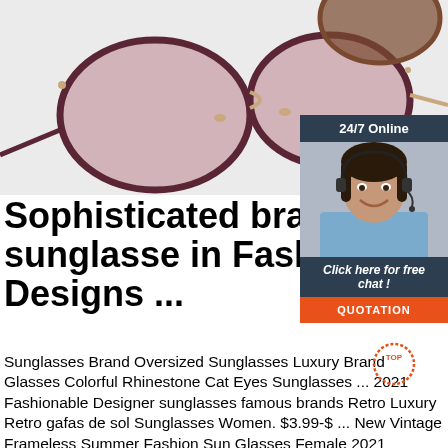[Figure (photo): Product photo of fashionable sunglasses with pink/rose lenses and dark frames on a light grey background]
[Figure (infographic): 24/7 Online chat widget with dark teal header, photo of smiling woman with headset, 'Click here for free chat!' text, and orange QUOTATION button]
Sophisticated brandes sunglasse in Fashionab Designs ...
Sunglasses Brand Oversized Sunglasses Luxury Brand Glasses Colorful Rhinestone Cat Eyes Sunglasses ... 2021 Fashionable Designer sunglasses famous brands Retro Luxury Retro gafas de sol Sunglasses Women. $3.99-$ ... New Vintage Frameless Summer Fashion Sun Glasses Female 2021 Famous